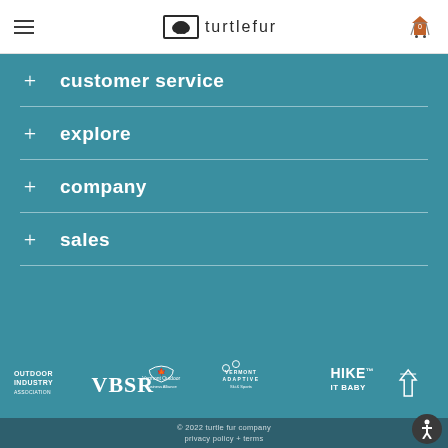turtlefur — navigation header with hamburger menu and cart icon
customer service
explore
company
sales
[Figure (logo): Partner logos: Outdoor Industry Association, VBSR, Vermont Outdoor Business Alliance, Vermont Adaptive Ski & Sports, Hike It Baby, and one more partially visible]
© 2022 turtle fur company
privacy policy + terms